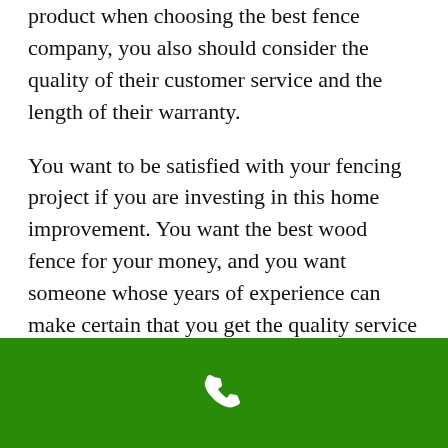product when choosing the best fence company, you also should consider the quality of their customer service and the length of their warranty.
You want to be satisfied with your fencing project if you are investing in this home improvement. You want the best wood fence for your money, and you want someone whose years of experience can make certain that you get the quality service you deserve. Find a company who
[Figure (other): Green bar at bottom of page with a white telephone/phone icon in the center]